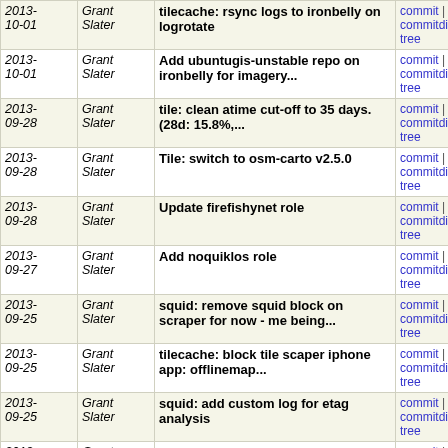| Date | Author | Message | Links |
| --- | --- | --- | --- |
| 2013-10-01 | Grant Slater | tilecache: rsync logs to ironbelly on logrotate | commit | commitdiff | tree |
| 2013-10-01 | Grant Slater | Add ubuntugis-unstable repo on ironbelly for imagery... | commit | commitdiff | tree |
| 2013-09-28 | Grant Slater | tile: clean atime cut-off to 35 days. (28d: 15.8%,... | commit | commitdiff | tree |
| 2013-09-28 | Grant Slater | Tile: switch to osm-carto v2.5.0 | commit | commitdiff | tree |
| 2013-09-28 | Grant Slater | Update firefishynet role | commit | commitdiff | tree |
| 2013-09-27 | Grant Slater | Add noquiklos role | commit | commitdiff | tree |
| 2013-09-25 | Grant Slater | squid: remove squid block on scraper for now - me being... | commit | commitdiff | tree |
| 2013-09-25 | Grant Slater | tilecache: block tile scaper iphone app: offlinemap... | commit | commitdiff | tree |
| 2013-09-25 | Grant Slater | squid: add custom log for etag analysis | commit | commitdiff | tree |
| 2013-09-23 | Grant Slater | Add v. ugly temp workaround so that daily UCL backups... | commit | commitdiff | tree |
| 2013-09-20 | Grant Slater | wiki: increase memcache size | commit | commitdiff | tree |
| 2013-09-20 | Grant Slater | stats: add a robots.txt to get rid of pesky bots | commit | commitdiff | tree |
| 2013-09-11 | Grant Slater | tile: remove potential infinite loop in tile cleanup... | commit | commitdiff | tree |
| 2013- | Grant | Tile: add br debug html | commit |